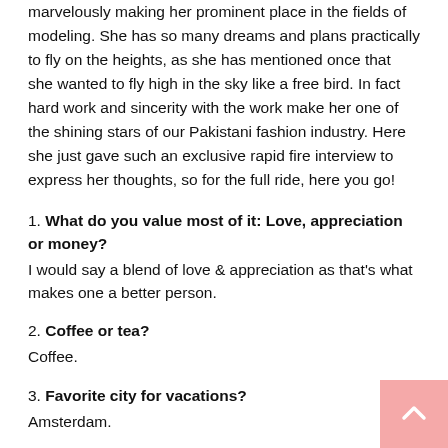marvelously making her prominent place in the fields of modeling. She has so many dreams and plans practically to fly on the heights, as she has mentioned once that she wanted to fly high in the sky like a free bird. In fact hard work and sincerity with the work make her one of the shining stars of our Pakistani fashion industry. Here she just gave such an exclusive rapid fire interview to express her thoughts, so for the full ride, here you go!
1. What do you value most of it: Love, appreciation or money?
I would say a blend of love & appreciation as that's what makes one a better person.
2. Coffee or tea?
Coffee.
3. Favorite city for vacations?
Amsterdam.
4. Favorite flowers?
Rose has always been my favorite flower because of the